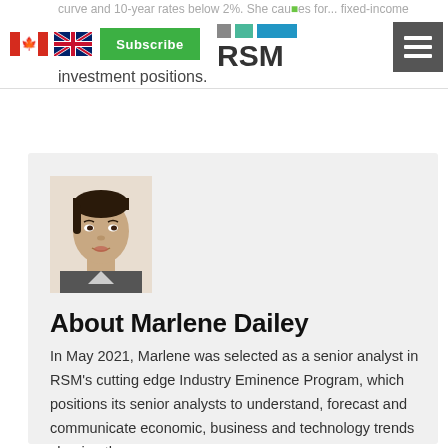curve and 10-year rates below 2%. She causes for adequate the fixed-income investment positions.
[Figure (photo): Headshot photo of Marlene Dailey, a woman with dark hair pulled back, smiling, wearing a collared top]
About Marlene Dailey
In May 2021, Marlene was selected as a senior analyst in RSM's cutting edge Industry Eminence Program, which positions its senior analysts to understand, forecast and communicate economic, business and technology trends shaping the